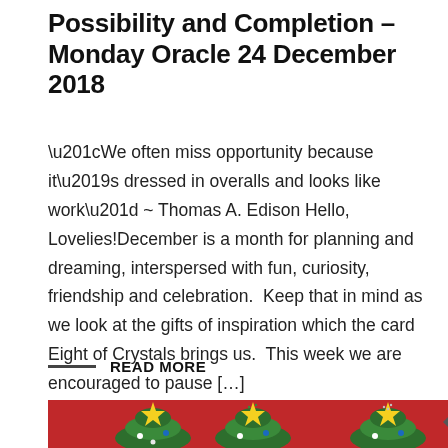Possibility and Completion – Monday Oracle 24 December 2018
“We often miss opportunity because it’s dressed in overalls and looks like work” ∼ Thomas A. Edison Hello, Lovelies!December is a month for planning and dreaming, interspersed with fun, curiosity, friendship and celebration.  Keep that in mind as we look at the gifts of inspiration which the card Eight of Crystals brings us.  This week we are encouraged to pause […]
READ MORE
[Figure (photo): Photo of Christmas cookie trees — small decorated Christmas tree cookies with yellow star toppers on a red background]